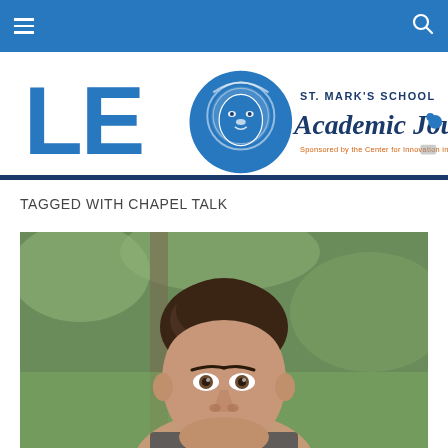Navigation bar with hamburger menu and search icon
[Figure (logo): LEO Academic Journal logo — St. Mark's School. Large blue 'LEO' letters with a blue lion head emblem in the center, beside 'ST. MARK'S SCHOOL' in small caps and 'Academic Journal' in dark navy script. Tagline: 'Sponsored by the Center for Innovation in Teaching and Learning']
TAGGED WITH CHAPEL TALK
[Figure (photo): Portrait photo of a young man with dark brown hair, looking forward, outdoors with green trees/foliage in background. Head and upper shoulders visible.]